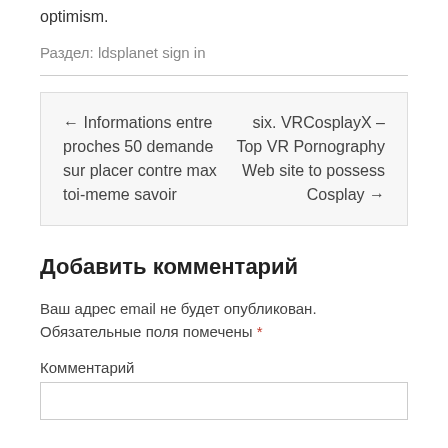optimism.
Раздел:  ldsplanet sign in
← Informations entre proches 50 demande sur placer contre max toi-meme savoir
six. VRCosplayX – Top VR Pornography Web site to possess Cosplay →
Добавить комментарий
Ваш адрес email не будет опубликован. Обязательные поля помечены *
Комментарий